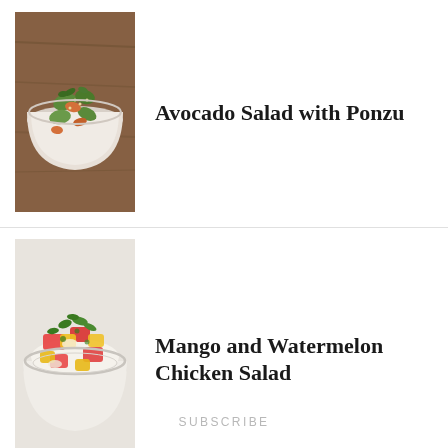[Figure (photo): Bowl of avocado salad with green herbs and orange sauce on a wooden surface]
Avocado Salad with Ponzu
[Figure (photo): Colorful mango and watermelon chicken salad with red, yellow, and green pieces on a white plate]
Mango and Watermelon Chicken Salad
[Figure (photo): Shrimp gyoza pan-fried dumplings being dipped in dark sauce with chopsticks]
Shrimp Gyoza (Pan-Fried Dumplings)
SUBSCRIBE